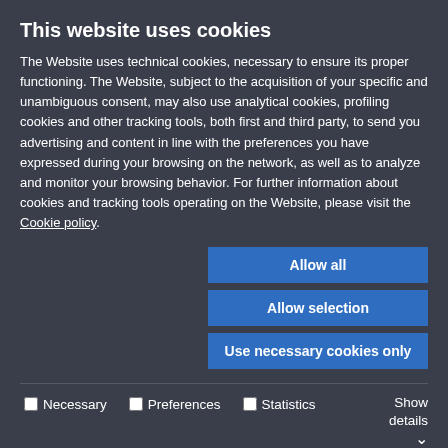This website uses cookies
The Website uses technical cookies, necessary to ensure its proper functioning. The Website, subject to the acquisition of your specific and unambiguous consent, may also use analytical cookies, profiling cookies and other tracking tools, both first and third party, to send you advertising and content in line with the preferences you have expressed during your browsing on the network, as well as to analyze and monitor your browsing behavior. For further information about cookies and tracking tools operating on the Website, please visit the Cookie policy.
Allow all
Allow selection
Use necessary cookies only
Necessary  Preferences  Statistics  Marketing  Show details
mostly in rural areas among children under the age of five. Boiling water significantly contributes to Cambodia's increasing rate of deforestation. The project is providing access to clean, safe drinking water to rural Cambodian